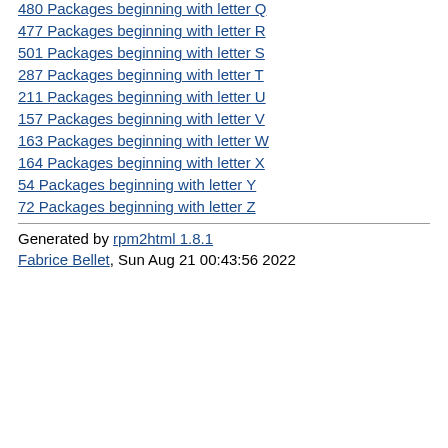480 Packages beginning with letter Q
477 Packages beginning with letter R
501 Packages beginning with letter S
287 Packages beginning with letter T
211 Packages beginning with letter U
157 Packages beginning with letter V
163 Packages beginning with letter W
164 Packages beginning with letter X
54 Packages beginning with letter Y
72 Packages beginning with letter Z
Generated by rpm2html 1.8.1
Fabrice Bellet, Sun Aug 21 00:43:56 2022